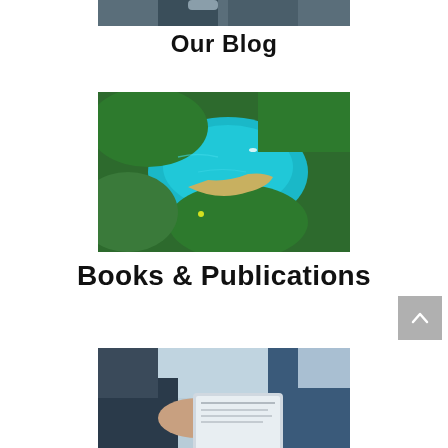[Figure (photo): Partial photo of a person cropped at the top of the page]
Our Blog
[Figure (photo): Aerial view of a turquoise lake surrounded by lush green tropical forest islands]
Books & Publications
[Figure (photo): Two people in business attire looking at a tablet or document, blurred office background]